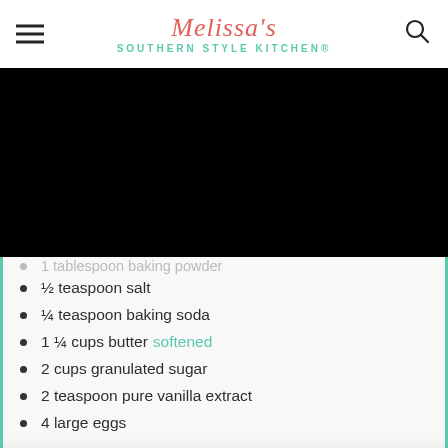Melissa's Southern Style Kitchen®
[Figure (photo): Large black rectangular image area (photo content obscured/black)]
1 tablespoon baking powder
½ teaspoon salt
¼ teaspoon baking soda
1 ¼ cups butter softened
2 cups granulated sugar
2 teaspoon pure vanilla extract
4 large eggs
1 cup buttermilk
2 quarts strawberries (Reserve 6 whole